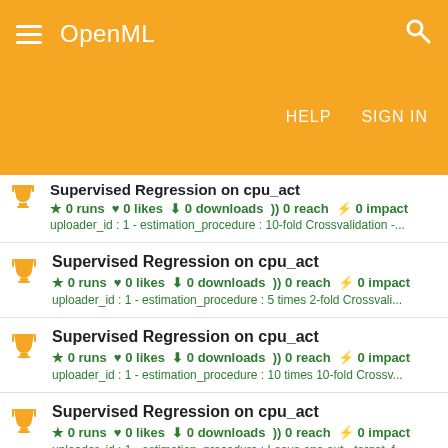OpenML | HELP | SIGN IN
Supervised Regression on cpu_act
0 runs 0 likes 0 downloads 0 reach 0 impact
uploader_id : 1 - estimation_procedure : 10-fold Crossvalidation -...
Supervised Regression on cpu_act
0 runs 0 likes 0 downloads 0 reach 0 impact
uploader_id : 1 - estimation_procedure : 5 times 2-fold Crossvali...
Supervised Regression on cpu_act
0 runs 0 likes 0 downloads 0 reach 0 impact
uploader_id : 1 - estimation_procedure : 10 times 10-fold Crossv...
Supervised Regression on cpu_act
0 runs 0 likes 0 downloads 0 reach 0 impact
uploader_id : 1 - estimation_procedure : Leave one out - target_f...
Supervised Regression on cpu_act